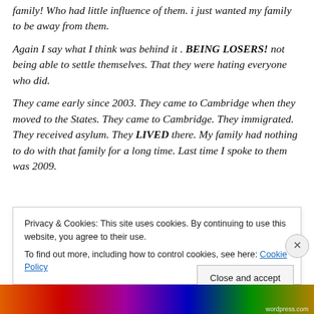family! Who had little influence of them. i just wanted my family to be away from them.
Again I say what I think was behind it . BEING LOSERS! not being able to settle themselves. That they were hating everyone who did.
They came early since 2003. They came to Cambridge when they moved to the States. They came to Cambridge. They immigrated. They received asylum. They LIVED there. My family had nothing to do with that family for a long time. Last time I spoke to them was 2009.
Privacy & Cookies: This site uses cookies. By continuing to use this website, you agree to their use.
To find out more, including how to control cookies, see here: Cookie Policy
Close and accept